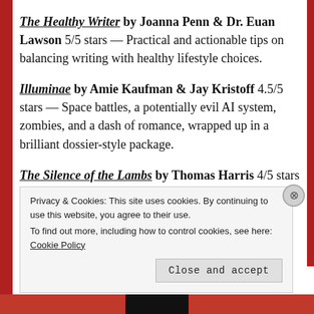The Healthy Writer by Joanna Penn & Dr. Euan Lawson 5/5 stars — Practical and actionable tips on balancing writing with healthy lifestyle choices.
Illuminae by Amie Kaufman & Jay Kristoff 4.5/5 stars — Space battles, a potentially evil AI system, zombies, and a dash of romance, wrapped up in a brilliant dossier-style package.
The Silence of the Lambs by Thomas Harris 4/5 stars — A…
Privacy & Cookies: This site uses cookies. By continuing to use this website, you agree to their use. To find out more, including how to control cookies, see here: Cookie Policy
Close and accept